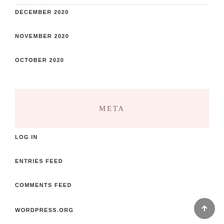DECEMBER 2020
NOVEMBER 2020
OCTOBER 2020
META
LOG IN
ENTRIES FEED
COMMENTS FEED
WORDPRESS.ORG